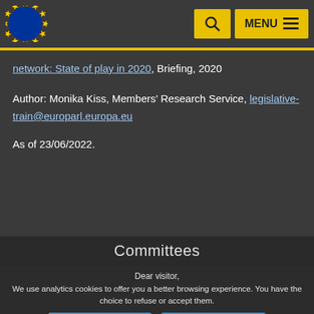[Figure (logo): European Parliament logo in top left navigation bar]
network: State of play in 2020, Briefing, 2020
Author: Monika Kiss, Members' Research Service, legislative-train@europarl.europa.eu
As of 23/06/2022.
Committees
Dear visitor,
We use analytics cookies to offer you a better browsing experience. You have the choice to refuse or accept them.
I refuse analytics cookies
I accept analytics cookies
For any information on the other cookies and server logs we use, we invite you to read our data protection policy, our cookies policy and our